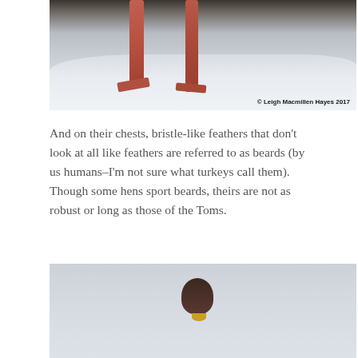[Figure (photo): Close-up photo of wild turkey legs and feet standing in snow. The reddish-pink scaly legs are visible from the bottom of the frame, with snow on the ground. Copyright watermark at bottom right.]
And on their chests, bristle-like feathers that don't look at all like feathers are referred to as beards (by us humans–I'm not sure what turkeys call them). Though some hens sport beards, theirs are not as robust or long as those of the Toms.
[Figure (photo): Photo of a wild turkey facing the camera head-on, showing its head and upper body against a light gray background.]